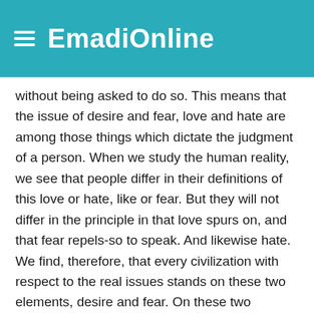EmadiOnline
without being asked to do so. This means that the issue of desire and fear, love and hate are among those things which dictate the judgment of a person. When we study the human reality, we see that people differ in their definitions of this love or hate, like or fear. But they will not differ in the principle in that love spurs on, and that fear repels-so to speak. And likewise hate.
We find, therefore, that every civilization with respect to the real issues stands on these two elements, desire and fear. On these two foundations, approaches are structured for defining the desires or fears from which a person wants to distance himself. This is what makes the matter of reward